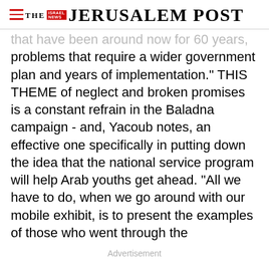THE JERUSALEM POST
that have been around now for 60 years, problems that require a wider government plan and years of implementation." THIS THEME of neglect and broken promises is a constant refrain in the Baladna campaign - and, Yacoub notes, an effective one specifically in putting down the idea that the national service program will help Arab youths get ahead. "All we have to do, when we go around with our mobile exhibit, is to present the examples of those who went through the
Advertisement